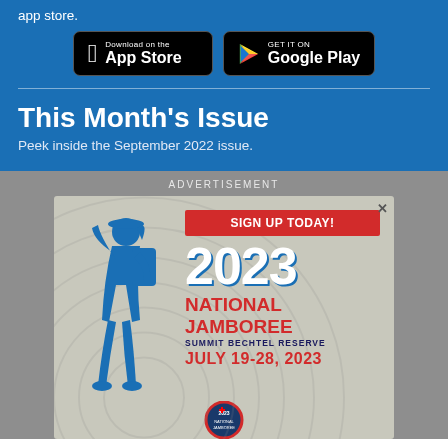app store.
[Figure (illustration): Download on the App Store and Get it on Google Play buttons on black background]
This Month's Issue
Peek inside the September 2022 issue.
ADVERTISEMENT
[Figure (infographic): 2023 National Jamboree advertisement. Sign Up Today! 2023 National Jamboree Summit Bechtel Reserve July 19-28, 2023. Blue scout silhouette with backpack on grey background with concentric circle pattern.]